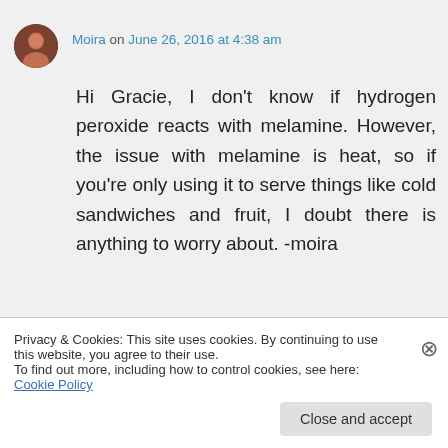Moira on June 26, 2016 at 4:38 am
Hi Gracie, I don't know if hydrogen peroxide reacts with melamine. However, the issue with melamine is heat, so if you're only using it to serve things like cold sandwiches and fruit, I doubt there is anything to worry about. -moira
★ Like
Privacy & Cookies: This site uses cookies. By continuing to use this website, you agree to their use.
To find out more, including how to control cookies, see here: Cookie Policy
Close and accept